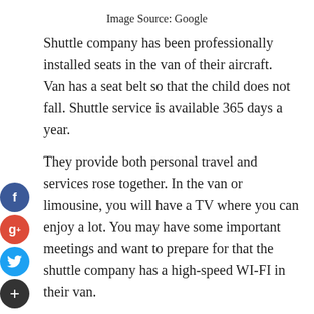Image Source: Google
Shuttle company has been professionally installed seats in the van of their aircraft. Van has a seat belt so that the child does not fall. Shuttle service is available 365 days a year.
They provide both personal travel and services rose together. In the van or limousine, you will have a TV where you can enjoy a lot. You may have some important meetings and want to prepare for that the shuttle company has a high-speed WI-FI in their van.
It can benefit you to complete your work that must be completed prior to the meeting. Airport transport companies do provide first-class seating facilities. Chairs made of